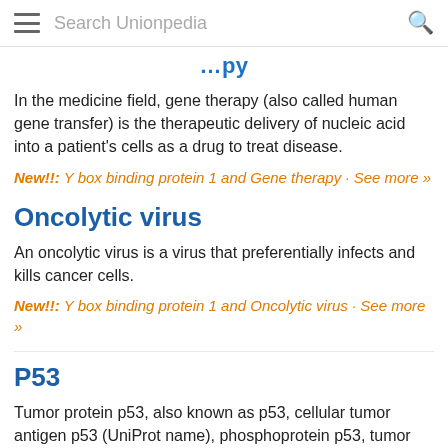Search Unionpedia
…py
In the medicine field, gene therapy (also called human gene transfer) is the therapeutic delivery of nucleic acid into a patient's cells as a drug to treat disease.
New!!: Y box binding protein 1 and Gene therapy · See more »
Oncolytic virus
An oncolytic virus is a virus that preferentially infects and kills cancer cells.
New!!: Y box binding protein 1 and Oncolytic virus · See more »
P53
Tumor protein p53, also known as p53, cellular tumor antigen p53 (UniProt name), phosphoprotein p53, tumor suppressor p53, antigen NY-CO-13, or transformation-related protein 53 (TRP53), is any isoform of a protein encoded by homologous genes in various